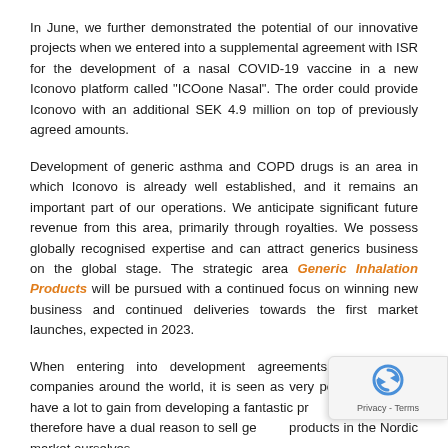In June, we further demonstrated the potential of our innovative projects when we entered into a supplemental agreement with ISR for the development of a nasal COVID-19 vaccine in a new Iconovo platform called "ICOone Nasal". The order could provide Iconovo with an additional SEK 4.9 million on top of previously agreed amounts.
Development of generic asthma and COPD drugs is an area in which Iconovo is already well established, and it remains an important part of our operations. We anticipate significant future revenue from this area, primarily through royalties. We possess globally recognised expertise and can attract generics business on the global stage. The strategic area Generic Inhalation Products will be pursued with a continued focus on winning new business and continued deliveries towards the first market launches, expected in 2023.
When entering into development agreements with generic companies around the world, it is seen as very positive that you have a lot to gain from developing a fantastic product yourself. We therefore have a dual reason to sell generic products in the Nordic market ourselves.